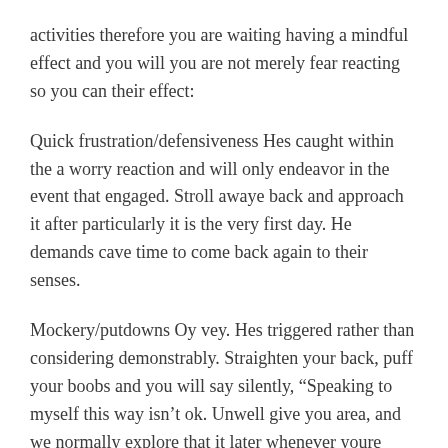activities therefore you are waiting having a mindful effect and you will you are not merely fear reacting so you can their effect:
Quick frustration/defensiveness Hes caught within the a worry reaction and will only endeavor in the event that engaged. Stroll awaye back and approach it after particularly it is the very first day. He demands cave time to come back again to their senses.
Mockery/putdowns Oy vey. Hes triggered rather than considering demonstrably. Straighten your back, puff your boobs and you will say silently, “Speaking to myself this way isn’t ok. Unwell give you area, and we normally explore that it later whenever youre willing to talk be sure to if you ask me.” Be calm, end up being cool, and don’t second guess oneself. Walk away. In the event that hes resorted towards